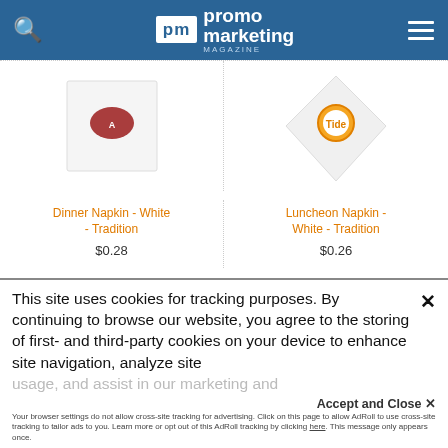promo marketing Magazine
[Figure (photo): Dinner Napkin - White with Arkansas Razorbacks logo]
[Figure (photo): Luncheon Napkin - White with Tide logo]
Dinner Napkin - White - Tradition
$0.28
Luncheon Napkin - White - Tradition
$0.26
[Figure (photo): Partial product image, blue background]
This site uses cookies for tracking purposes. By continuing to browse our website, you agree to the storing of first- and third-party cookies on your device to enhance site navigation, analyze site usage, and assist in our marketing and
Accept and Close ✕
Your browser settings do not allow cross-site tracking for advertising. Click on this page to allow AdRoll to use cross-site tracking to tailor ads to you. Learn more or opt out of this AdRoll tracking by clicking here. This message only appears once.